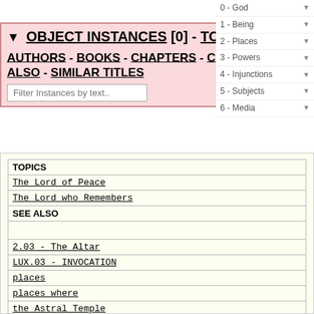0 - God
1 - Being
2 - Places
3 - Powers
4 - Injunctions
5 - Subjects
6 - Media
▼ OBJECT INSTANCES [0] - TOPICS - AUTHORS - BOOKS - CHAPTERS - CLASSES - SEE ALSO - SIMILAR TITLES
Filter Instances by text..
| TOPICS |
| --- |
| The Lord of Peace |
| The Lord who Remembers |
| SEE ALSO |
|  |
| 2.03 - The Altar |
| LUX.03 - INVOCATION |
| places |
| places where |
| the Astral Temple |
| the Castle |
| the City |
| the Cup |
| the Door |
| the Garden |
| the Holy Spirit |
| the Inner Sanctum |
| the Library |